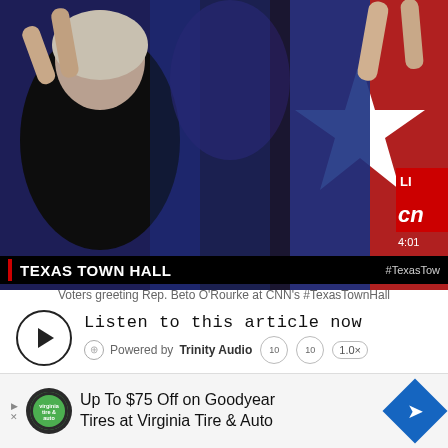[Figure (screenshot): Video screenshot from CNN showing crowd of voters at Texas Town Hall event. People clapping, one person wearing a red white and blue Texas flag top. CNN LIVE banner and 4:01 timestamp visible in top right corner. Lower bar reads TEXAS TOWN HALL with #TexasTow hashtag.]
Voters greeting Rep. Beto O'Rourke at CNN's #TexasTownHall
[Figure (screenshot): Audio player widget. Play button (circle with triangle), text 'Listen to this article now', globe icon, 'Powered by Trinity Audio', rewind 10, forward 10, speed 1.0x controls, progress bar from 00:00 to 00:04.]
[Figure (screenshot): Advertisement banner: Up To $75 Off on Goodyear Tires at Virginia Tire & Auto, with green Virginia Tire & Auto logo and blue diamond with navigation arrow icon.]